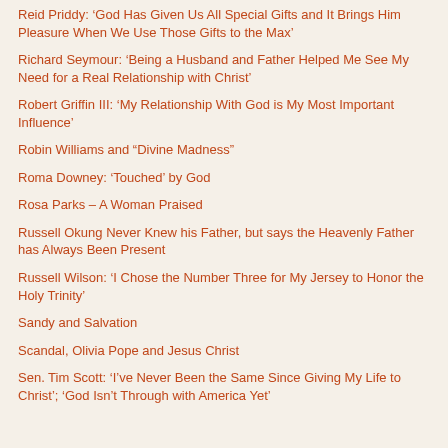Reid Priddy: ‘God Has Given Us All Special Gifts and It Brings Him Pleasure When We Use Those Gifts to the Max’
Richard Seymour: ‘Being a Husband and Father Helped Me See My Need for a Real Relationship with Christ’
Robert Griffin III: ‘My Relationship With God is My Most Important Influence’
Robin Williams and “Divine Madness”
Roma Downey: ‘Touched’ by God
Rosa Parks – A Woman Praised
Russell Okung Never Knew his Father, but says the Heavenly Father has Always Been Present
Russell Wilson: ‘I Chose the Number Three for My Jersey to Honor the Holy Trinity’
Sandy and Salvation
Scandal, Olivia Pope and Jesus Christ
Sen. Tim Scott: ‘I’ve Never Been the Same Since Giving My Life to Christ’; ‘God Isn’t Through with America Yet’